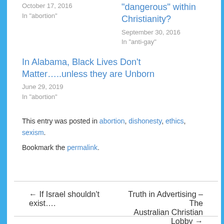October 17, 2016
In "abortion"
"dangerous" within Christianity?
September 30, 2016
In "anti-gay"
In Alabama, Black Lives Don't Matter…..unless they are Unborn
June 29, 2019
In "abortion"
This entry was posted in abortion, dishonesty, ethics, sexism.
Bookmark the permalink.
← If Israel shouldn't exist….
Truth in Advertising – The Australian Christian Lobby →